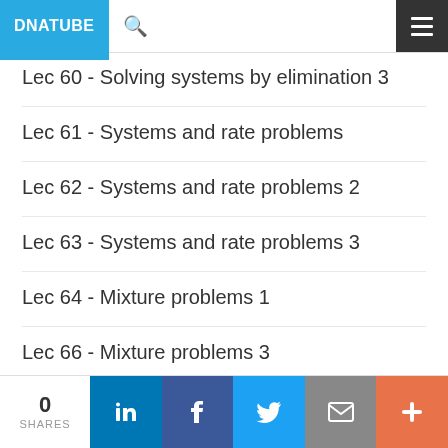DNATUBE
Lec 60 - Solving systems by elimination 3
Lec 61 - Systems and rate problems
Lec 62 - Systems and rate problems 2
Lec 63 - Systems and rate problems 3
Lec 64 - Mixture problems 1
Lec 66 - Mixture problems 3
Lec 67 - Graphing systems of inequalities
Lec 68 - Graphing systems of inequalities 2
0 SHARES | in | f | Twitter | Email | +